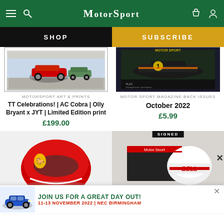Motor Sport
SHOP
SUBSCRIBE
[Figure (photo): Red AC Cobra racing car on track with other classic cars, framed print]
MOTORSPORT ART & PRINTS
TT Celebrations! | AC Cobra | Olly Bryant x JYT | Limited Edition print
£199.00
[Figure (photo): Motor Sport magazine October 2022 cover featuring Formula 1 car]
MOTOR SPORT MAGAZINE BACK ISSUES
October 2022
£5.99
[Figure (photo): Red Ferrari helmet product]
[Figure (photo): Signed Bell helmet in box]
SIGNED
JOIN US FOR A GREAT DAY OUT!
11-13 NOVEMBER 2022 | NEC BIRMINGHAM